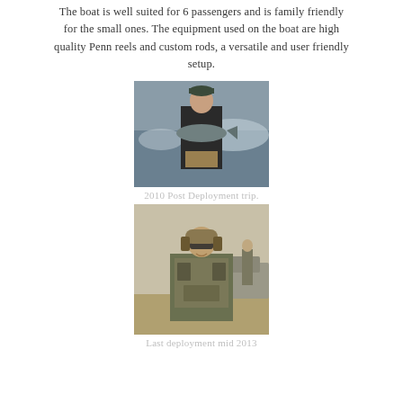The boat is well suited for 6 passengers and is family friendly for the small ones. The equipment used on the boat are high quality Penn reels and custom rods, a versatile and user friendly setup.
[Figure (photo): Person on a boat holding a large fish, water in background]
2010 Post Deployment trip.
[Figure (photo): Person in military gear with headset and tactical equipment, another person visible in background]
Last deployment mid 2013